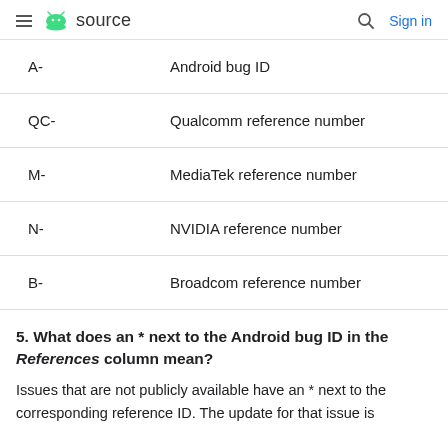source  Sign in
| Prefix | Description |
| --- | --- |
| A- | Android bug ID |
| QC- | Qualcomm reference number |
| M- | MediaTek reference number |
| N- | NVIDIA reference number |
| B- | Broadcom reference number |
5. What does an * next to the Android bug ID in the References column mean?
Issues that are not publicly available have an * next to the corresponding reference ID. The update for that issue is